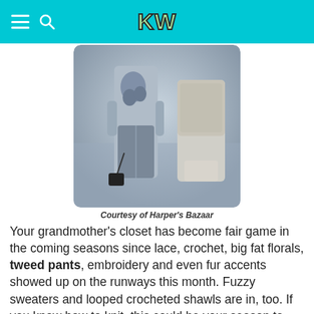KW
[Figure (photo): Two fashion models on runway wearing tweed and floral outfits]
Courtesy of Harper's Bazaar
Your grandmother's closet has become fair game in the coming seasons since lace, crochet, big fat florals, tweed pants, embroidery and even fur accents showed up on the runways this month. Fuzzy sweaters and looped crocheted shawls are in, too. If you know how to knit, this could be your season to shine!